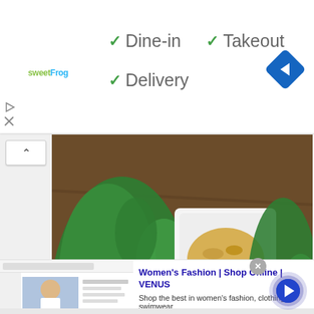[Figure (logo): sweetFrog logo in green and blue text]
✓ Dine-in  ✓ Takeout
✓ Delivery
[Figure (illustration): Blue diamond-shaped navigation/directions icon with right-pointing arrow]
[Figure (illustration): Small play button and X/close button icons on left side]
[Figure (photo): Overhead food photo on wooden table: fresh herbs/basil, white square bowl with pine nuts, fork, small blue bowl with shredded cheese, dark bowl with green pesto sauce]
[Figure (screenshot): Ad thumbnail showing women's fashion website screenshot with a woman in a blue/white outfit]
Women's Fashion | Shop Online | VENUS
Shop the best in women's fashion, clothing, swimwear
venus.com
[Figure (illustration): Close (X) button circle and advertisement info icon]
[Figure (illustration): Blue circular arrow/next button in advertisement]